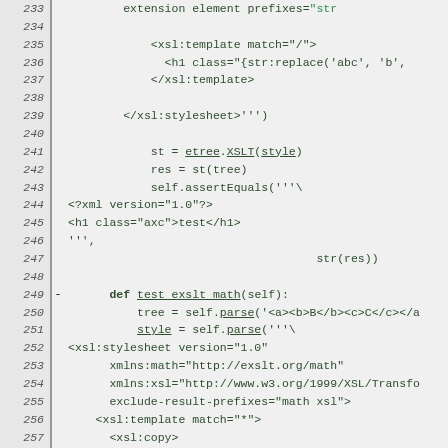[Figure (screenshot): Source code viewer showing Python/XSLT code lines 233-263, with line numbers on the left, a marker column, and code content in monospace green/blue on gray background.]